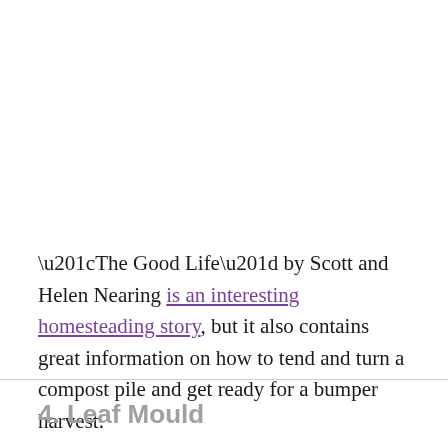“The Good Life” by Scott and Helen Nearing is an interesting homesteading story, but it also contains great information on how to tend and turn a compost pile and get ready for a bumper harvest.
4. Leaf Mould